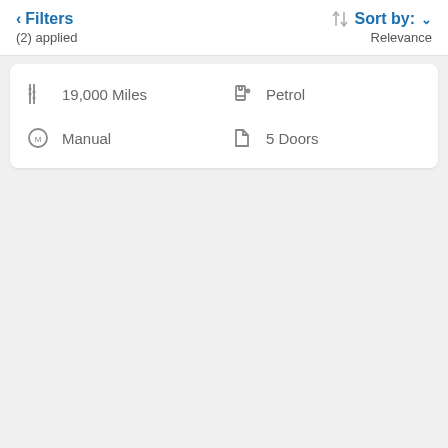< Filters
(2) applied
Sort by: v
Relevance
19,000 Miles
Petrol
Manual
5 Doors
[Figure (photo): A grey Citroen C3 hatchback with registration LS67 HBF parked in front of a Shorewoods/Citroen dealership showroom entrance. The car is photographed from the front-left angle. A red banner is partially visible on the right side of the image.]